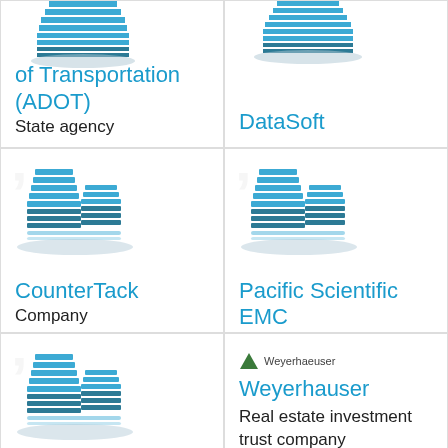[Figure (logo): Building icon for Arizona Department of Transportation (ADOT)]
of Transportation (ADOT)
State agency
[Figure (logo): Building icon for DataSoft]
DataSoft
[Figure (logo): Building icon for CounterTack]
CounterTack
Company
[Figure (logo): Building icon for Pacific Scientific EMC]
Pacific Scientific EMC
[Figure (logo): Building icon for A&C Enercom]
A&C Enercom
[Figure (logo): Weyerhaeuser triangle logo with text]
Weyerhauser
Real estate investment trust company